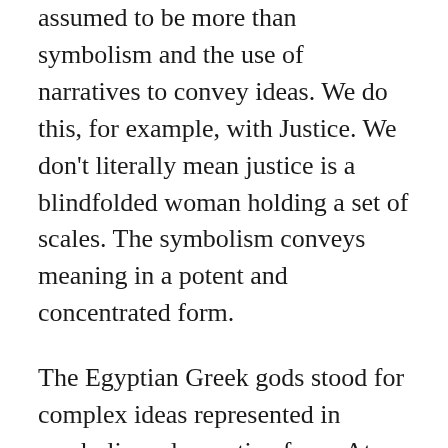assumed to be more than symbolism and the use of narratives to convey ideas. We do this, for example, with Justice. We don't literally mean justice is a blindfolded woman holding a set of scales. The symbolism conveys meaning in a potent and concentrated form.
The Egyptian Greek gods stood for complex ideas represented in symbolic and narrative form. At their foundation is an assertion that reality is grounded in spirit – what we might call consciousness these days. Our ancestors did not have available to them the notion of abstract rational ideas that described a mechanistic reality.